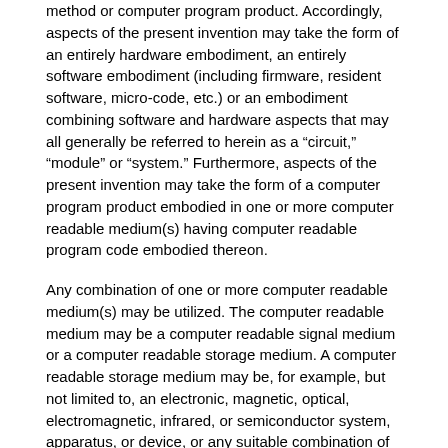method or computer program product. Accordingly, aspects of the present invention may take the form of an entirely hardware embodiment, an entirely software embodiment (including firmware, resident software, micro-code, etc.) or an embodiment combining software and hardware aspects that may all generally be referred to herein as a "circuit," "module" or "system." Furthermore, aspects of the present invention may take the form of a computer program product embodied in one or more computer readable medium(s) having computer readable program code embodied thereon.
Any combination of one or more computer readable medium(s) may be utilized. The computer readable medium may be a computer readable signal medium or a computer readable storage medium. A computer readable storage medium may be, for example, but not limited to, an electronic, magnetic, optical, electromagnetic, infrared, or semiconductor system, apparatus, or device, or any suitable combination of the foregoing. More specific examples (a non-exhaustive list) of the computer readable storage medium would include the following: an electrical connection having one or more wires, a portable computer